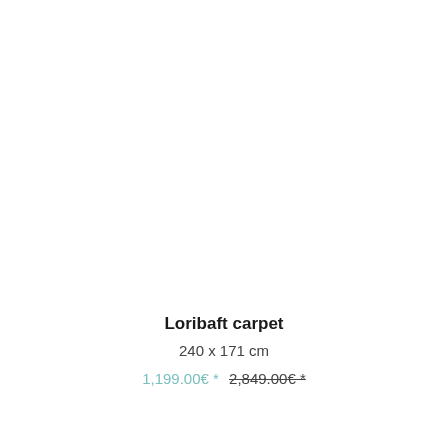Loribaft carpet
240 x 171 cm
1,199.00€ * 2,849.00€ *